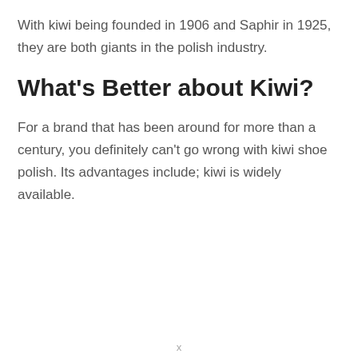With kiwi being founded in 1906 and Saphir in 1925, they are both giants in the polish industry.
What's Better about Kiwi?
For a brand that has been around for more than a century, you definitely can't go wrong with kiwi shoe polish. Its advantages include; kiwi is widely available.
x